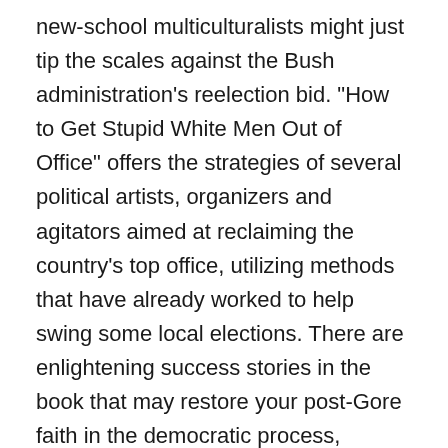new-school multiculturalists might just tip the scales against the Bush administration's reelection bid. "How to Get Stupid White Men Out of Office" offers the strategies of several political artists, organizers and agitators aimed at reclaiming the country's top office, utilizing methods that have already worked to help swing some local elections. There are enlightening success stories in the book that may restore your post-Gore faith in the democratic process, including the tale of Alisha Thomas, a young African-American woman who won a seat in the Gingrich-friendly Georgia state legislature, and a band of South Dakota Native American youths who purportedly swung a U.S. Senate race by barely 500 votes.